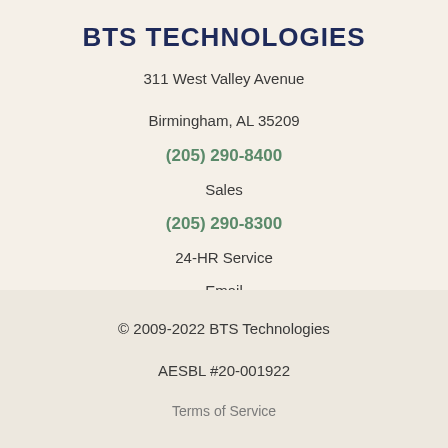BTS TECHNOLOGIES
311 West Valley Avenue
Birmingham, AL 35209
(205) 290-8400
Sales
(205) 290-8300
24-HR Service
Email
contact@askbts.com
© 2009-2022 BTS Technologies
AESBL #20-001922
Terms of Service